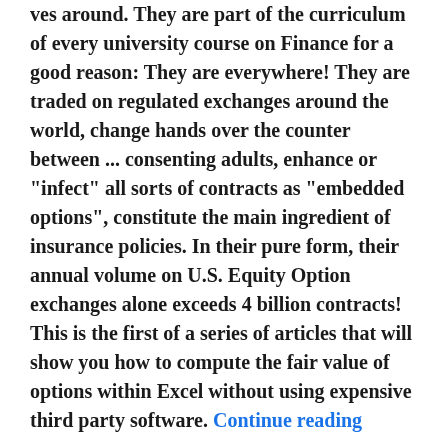ves around. They are part of the curriculum of every university course on Finance for a good reason: They are everywhere! They are traded on regulated exchanges around the world, change hands over the counter between ... consenting adults, enhance or "infect" all sorts of contracts as "embedded options", constitute the main ingredient of insurance policies. In their pure form, their annual volume on U.S. Equity Option exchanges alone exceeds 4 billion contracts! This is the first of a series of articles that will show you how to compute the fair value of options within Excel without using expensive third party software. Continue reading